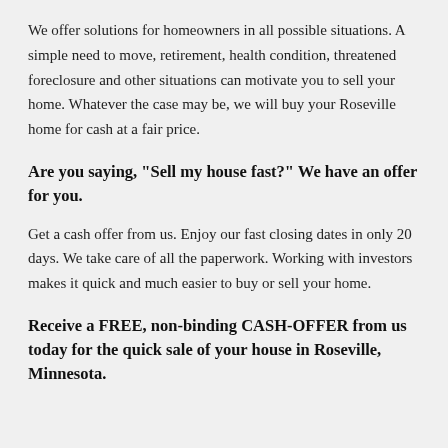We offer solutions for homeowners in all possible situations. A simple need to move, retirement, health condition, threatened foreclosure and other situations can motivate you to sell your home. Whatever the case may be, we will buy your Roseville home for cash at a fair price.
Are you saying, "Sell my house fast?" We have an offer for you.
Get a cash offer from us. Enjoy our fast closing dates in only 20 days. We take care of all the paperwork. Working with investors makes it quick and much easier to buy or sell your home.
Receive a FREE, non-binding CASH-OFFER from us today for the quick sale of your house in Roseville, Minnesota.